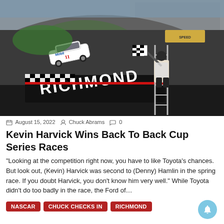[Figure (photo): Aerial/elevated view of a NASCAR race car with Mobil 11 livery crossing the finish line at Richmond Raceway, with a flagman waving the checkered flag from a ladder stand above the pit wall. The Richmond track name is visible on the wall.]
August 15, 2022  Chuck Abrams  0
Kevin Harvick Wins Back To Back Cup Series Races
“Looking at the competition right now, you have to like Toyota’s chances. But look out, (Kevin) Harvick was second to (Denny) Hamlin in the spring race. If you doubt Harvick, you don’t know him very well.” While Toyota didn’t do too badly in the race, the Ford of…
NASCAR
Chuck Checks In
Richmond